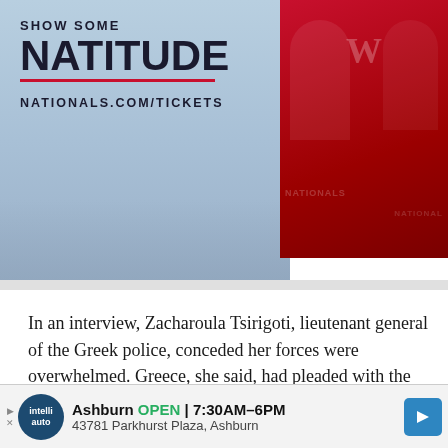[Figure (photo): Washington Nationals baseball advertisement banner. Left side shows text 'SHOW SOME NATITUDE' with 'NATIONALS.COM/TICKETS' below on a light blue background. Right side shows two people wearing red Washington Nationals jerseys/shirts.]
In an interview, Zacharoula Tsirigoti, lieutenant general of the Greek police, conceded her forces were overwhelmed. Greece, she said, had pleaded with the E.U. for more help, but until the Paris attacks, that assistance — including requests for more staff and machines to enter migrants' information into a regional database known as Eurodac — was not forthcoming.
[Figure (infographic): Bottom advertisement banner: IntelliAuto logo circle. 'Ashburn OPEN 7:30AM–6PM' with '43781 Parkhurst Plaza, Ashburn'. Blue navigation arrow on right. Play/X icons on left.]